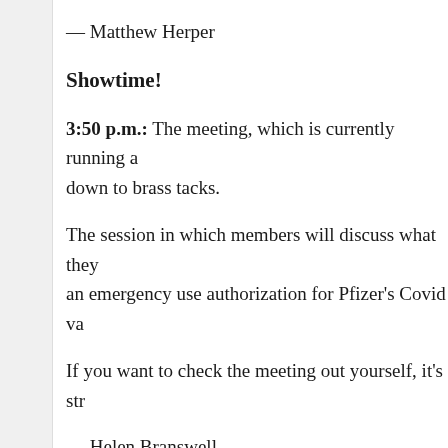— Matthew Herper
Showtime!
3:50 p.m.: The meeting, which is currently running a down to brass tacks.
The session in which members will discuss what they an emergency use authorization for Pfizer's Covid va
If you want to check the meeting out yourself, it's str
— Helen Branswell
During Pfizer presentation, anxiety and excitemen